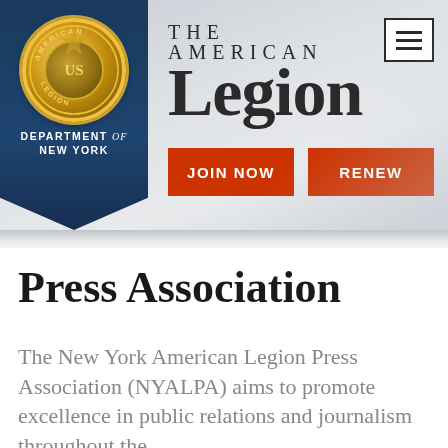[Figure (logo): The American Legion Department of New York logo with emblem on dark blue ribbon banner and large LEGION text]
Press Association
The New York American Legion Press Association (NYALPA) aims to promote excellence in public relations and journalism throughout the